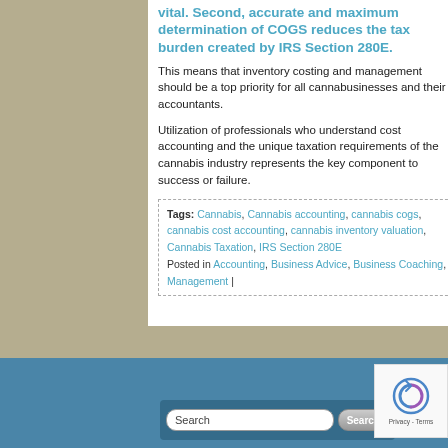vital. Second, accurate and maximum determination of COGS reduces the tax burden created by IRS Section 280E.
This means that inventory costing and management should be a top priority for all cannabusinesses and their accountants.
Utilization of professionals who understand cost accounting and the unique taxation requirements of the cannabis industry represents the key component to success or failure.
Tags: Cannabis, Cannabis accounting, cannabis cogs, cannabis cost accounting, cannabis inventory valuation, Cannabis Taxation, IRS Section 280E
Posted in Accounting, Business Advice, Business Coaching, Management |
[Figure (other): Blue footer bar with search input field and Search button, plus reCAPTCHA widget in bottom right corner]